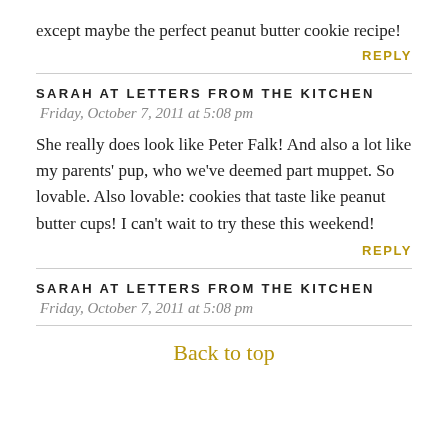except maybe the perfect peanut butter cookie recipe!
REPLY
SARAH AT LETTERS FROM THE KITCHEN
Friday, October 7, 2011 at 5:08 pm
She really does look like Peter Falk! And also a lot like my parents' pup, who we've deemed part muppet. So lovable. Also lovable: cookies that taste like peanut butter cups! I can't wait to try these this weekend!
REPLY
SARAH AT LETTERS FROM THE KITCHEN
Friday, October 7, 2011 at 5:08 pm
Back to top